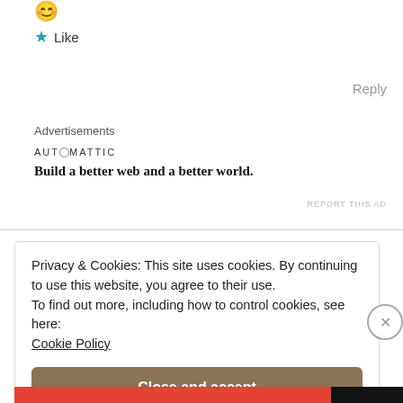[Figure (other): Emoji smiley face icon]
★ Like
Reply
Advertisements
AUTOMATTIC
Build a better web and a better world.
REPORT THIS AD
Privacy & Cookies: This site uses cookies. By continuing to use this website, you agree to their use.
To find out more, including how to control cookies, see here:
Cookie Policy
Close and accept